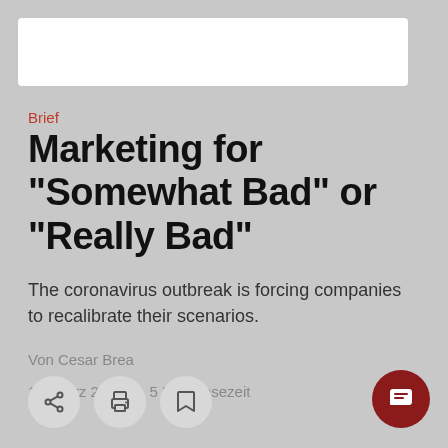Brief
Marketing for “Somewhat Bad” or “Really Bad”
The coronavirus outbreak is forcing companies to recalibrate their scenarios.
Von Cesar Brea
18. März 2020 • 5 Min. Lesezeit
[Figure (other): Bottom action bar with share, print, and bookmark icon buttons, plus a dark red chat button on the right]